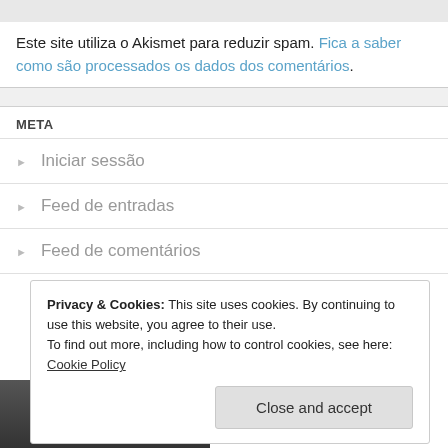Este site utiliza o Akismet para reduzir spam. Fica a saber como são processados os dados dos comentários.
META
Iniciar sessão
Feed de entradas
Feed de comentários
Privacy & Cookies: This site uses cookies. By continuing to use this website, you agree to their use.
To find out more, including how to control cookies, see here: Cookie Policy
Close and accept